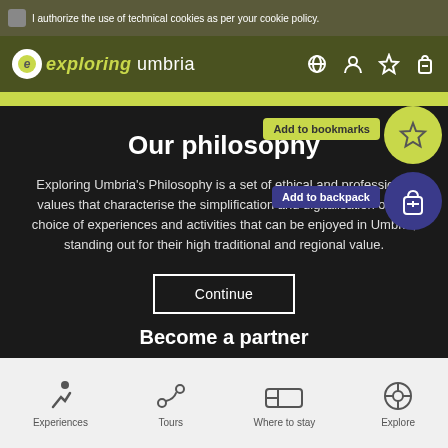I authorize the use of technical cookies as per your cookie policy.
Exploring Umbria
Our philosophy
Exploring Umbria's Philosophy is a set of ethical and professional values that characterise the simplification and digitalisation of the choice of experiences and activities that can be enjoyed in Umbria, standing out for their high traditional and regional value.
Continue
Add to bookmarks
Add to backpack
Become a partner
Experiences
Tours
Where to stay
Explore